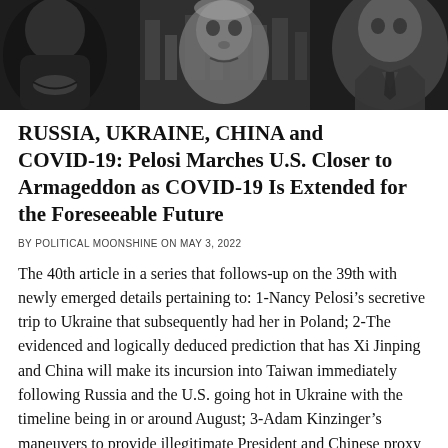[Figure (photo): Black and white composite header image showing multiple faces/people in a collaged arrangement]
RUSSIA, UKRAINE, CHINA and COVID-19: Pelosi Marches U.S. Closer to Armageddon as COVID-19 Is Extended for the Foreseeable Future
BY POLITICAL MOONSHINE ON MAY 3, 2022
The 40th article in a series that follows-up on the 39th with newly emerged details pertaining to: 1-Nancy Pelosi’s secretive trip to Ukraine that subsequently had her in Poland; 2-The evidenced and logically deduced prediction that has Xi Jinping and China will make its incursion into Taiwan immediately following Russia and the U.S. going hot in Ukraine with the timeline being in or around August; 3-Adam Kinzinger’s maneuvers to provide illegitimate President and Chinese proxy Joe Biden unilateral authority to wage war in Ukraine and 4-The Biden Administration’s